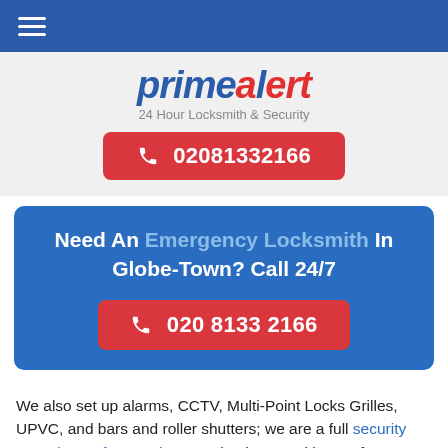primealert 24 Hour Locksmith & Security
02081332166
Need An Emergency Locksmith In Globe-Town? Call 24/7
020 8133 2166
We also set up alarms, CCTV, Multi-Point Locks Grilles, UPVC, and bars and roller shutters; we are a full security consultancy for your home or business. With over forty